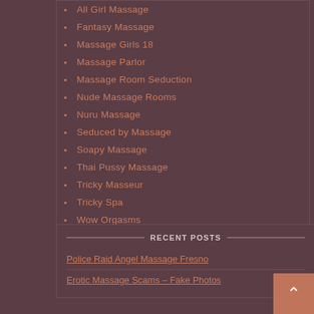All Girl Massage
Fantasy Massage
Massage Girls 18
Massage Parlor
Massage Room Seduction
Nude Massage Rooms
Nuru Massage
Seduced by Massage
Soapy Massage
Thai Pussy Massage
Tricky Masseur
Tricky Spa
Wow Orgasms
RECENT POSTS
Police Raid Angel Massage Fresno
Erotic Massage Scams – Fake Photos